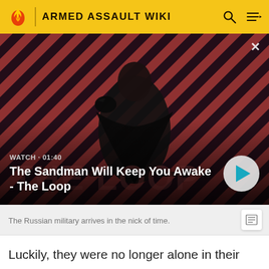ARMED ASSAULT WIKI
[Figure (screenshot): Video thumbnail showing a dark-clad figure with a raven on their shoulder against a red and black diagonal striped background. Title card reads 'THE LOOP'. Overlay shows WATCH · 01:40 and title 'The Sandman Will Keep You Awake - The Loop' with a play button.]
The Russian military arrives in the nick of time.
Luckily, they were no longer alone in their struggle. The backup Severov had requested for had finally materialised. Russian fighters intercepted Livonian